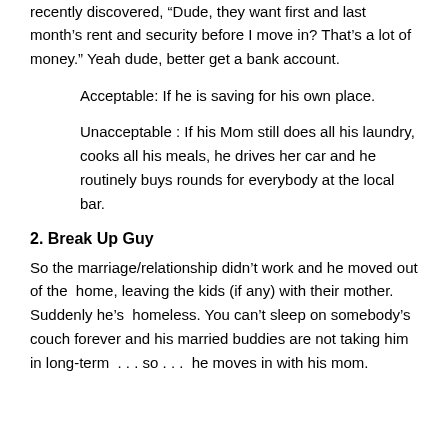recently discovered, “Dude, they want first and last month’s rent and security before I move in?  That’s a lot of money.”  Yeah dude, better get a bank account.
Acceptable:  If he is saving for his own place.
Unacceptable : If his Mom still does all his laundry, cooks all his meals, he drives her car and he routinely buys rounds for everybody at the local bar.
2.  Break Up Guy
So the marriage/relationship didn’t work and he moved out of the  home, leaving the kids (if any) with their mother.  Suddenly he’s  homeless.  You can’t sleep on somebody’s couch forever and his married buddies are not taking him in long-term  . . . so . . .  he moves in with his mom.